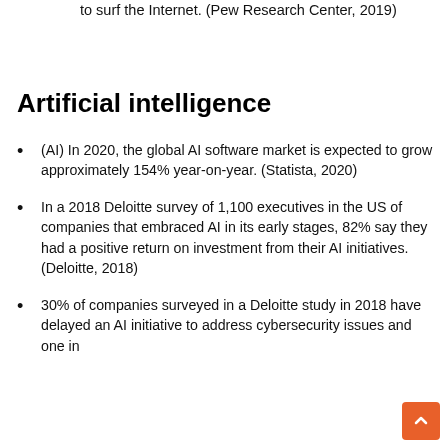to surf the Internet. (Pew Research Center, 2019)
Artificial intelligence
(AI) In 2020, the global AI software market is expected to grow approximately 154% year-on-year. (Statista, 2020)
In a 2018 Deloitte survey of 1,100 executives in the US of companies that embraced AI in its early stages, 82% say they had a positive return on investment from their AI initiatives. (Deloitte, 2018)
30% of companies surveyed in a Deloitte study in 2018 have delayed an AI initiative to address cybersecurity issues and one in